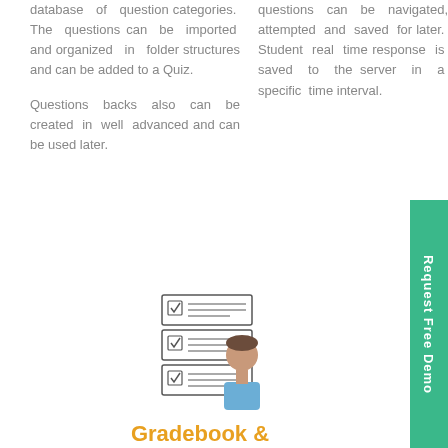database of question categories. The questions can be imported and organized in folder structures and can be added to a Quiz.
Questions backs also can be created in well advanced and can be used later.
questions can be navigated, attempted and saved for later. Student real time response is saved to the server in a specific time interval.
[Figure (illustration): Icon of a person with checklist/quiz documents]
Gradebook & Evaluation
Automated questions will